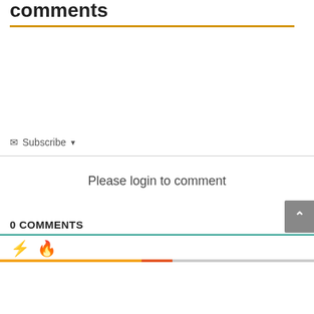comments
Subscribe ▾
Please login to comment
0 COMMENTS